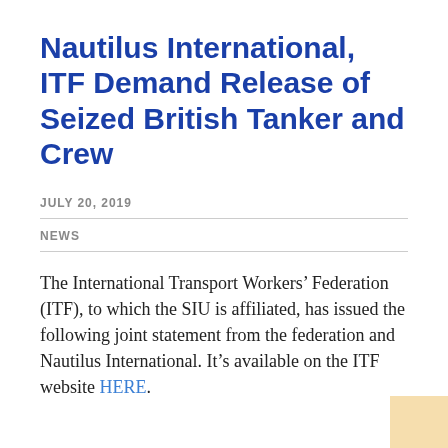Nautilus International, ITF Demand Release of Seized British Tanker and Crew
JULY 20, 2019
NEWS
The International Transport Workers’ Federation (ITF), to which the SIU is affiliated, has issued the following joint statement from the federation and Nautilus International. It’s available on the ITF website HERE.